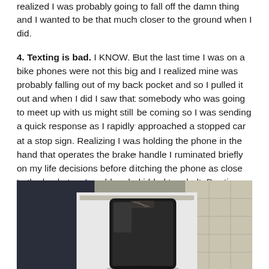realized I was probably going to fall off the damn thing and I wanted to be that much closer to the ground when I did.
4. Texting is bad. I KNOW. But the last time I was on a bike phones were not this big and I realized mine was probably falling out of my back pocket and so I pulled it out and when I did I saw that somebody who was going to meet up with us might still be coming so I was sending a quick response as I rapidly approached a stopped car at a stop sign. Realizing I was holding the phone in the hand that operates the brake handle I ruminated briefly on my life decisions before ditching the phone as close to the basket as I could and skidded to a halt. Pro-tip: glass screen protectors are the best.
[Figure (photo): Photo of a smartphone lying in what appears to be a bicycle basket, showing a damaged or scratched phone case/screen protector. The background shows a tiled floor and some fabric/clothing.]